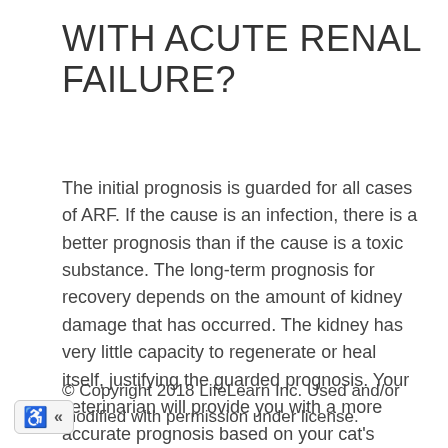WITH ACUTE RENAL FAILURE?
The initial prognosis is guarded for all cases of ARF. If the cause is an infection, there is a better prognosis than if the cause is a toxic substance. The long-term prognosis for recovery depends on the amount of kidney damage that has occurred. The kidney has very little capacity to regenerate or heal itself, justifying the guarded prognosis. Your veterinarian will provide you with a more accurate prognosis based on your cat's clinical signs, results of laboratory tests, and individual condition.
© Copyright 2018 LifeLearn Inc. Used and/or modified with permission under license.